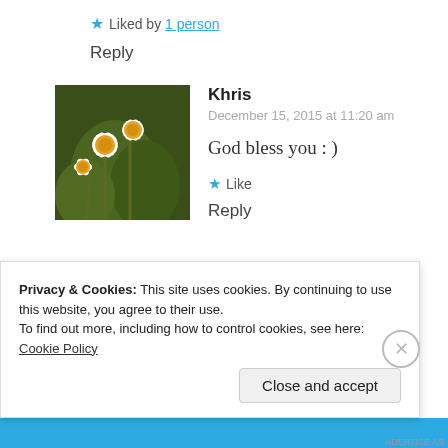★ Liked by 1 person
Reply
[Figure (photo): Avatar photo of Khris showing white daisy flowers on green background]
Khris
December 15, 2015 at 11:20 am
God bless you : )
★ Like
Reply
Privacy & Cookies: This site uses cookies. By continuing to use this website, you agree to their use.
To find out more, including how to control cookies, see here: Cookie Policy
Close and accept